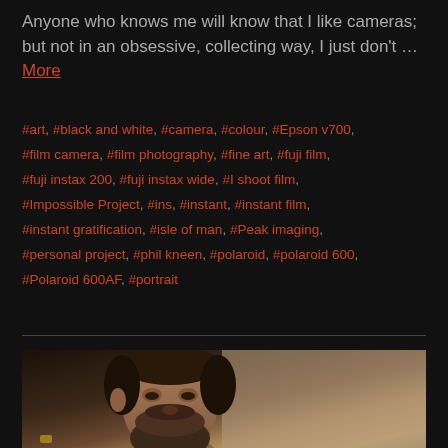Anyone who knows me will know that I like cameras; but not in an obsessive, collecting way, I just don't … More
#art, #black and white, #camera, #colour, #Epson v700, #film camera, #film photography, #fine art, #fuji film, #fuji instax 200, #fuji instax wide, #I shoot film, #Impossible Project, #ins, #instant, #instant film, #instant gratification, #isle of man, #Peak imaging, #personal project, #phil kneen, #polaroid, #polaroid 600, #Polaroid 600AF, #portrait
[Figure (photo): Portrait photo of a bearded man against a light/beige background]